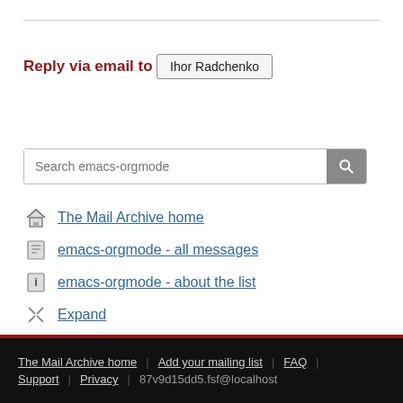Reply via email to
Ihor Radchenko
[Figure (other): Search input box with placeholder 'Search emacs-orgmode' and a search button]
The Mail Archive home
emacs-orgmode - all messages
emacs-orgmode - about the list
Expand
Previous message
Next message
The Mail Archive home | Add your mailing list | FAQ | Support | Privacy | 87v9d15dd5.fsf@localhost